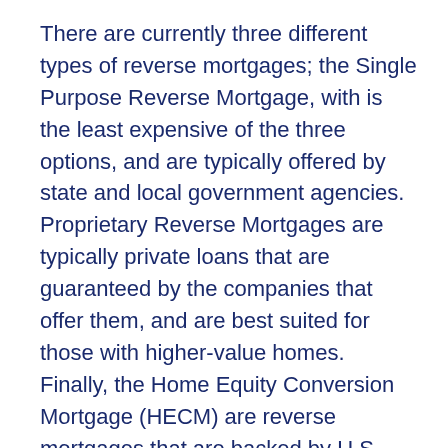There are currently three different types of reverse mortgages; the Single Purpose Reverse Mortgage, with is the least expensive of the three options, and are typically offered by state and local government agencies. Proprietary Reverse Mortgages are typically private loans that are guaranteed by the companies that offer them, and are best suited for those with higher-value homes. Finally, the Home Equity Conversion Mortgage (HECM) are reverse mortgages that are backed by U.S. Department of Housing and Urban Development (HUD) and can be used for any purpose. HECMs are the most popular reverse mortgage, and offer both variable and fixed rate loans.